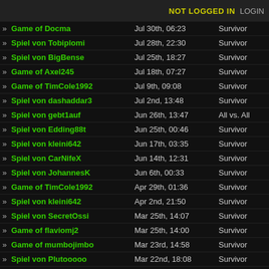NOT LOGGED IN   LOGIN
» Game of Docma | Jul 30th, 06:23 | Survivor
» Spiel von Tobiplomi | Jul 28th, 22:30 | Survivor
» Spiel von BigBense | Jul 25th, 18:27 | Survivor
» Game of Axel245 | Jul 18th, 07:27 | Survivor
» Game of TimCole1992 | Jul 9th, 09:08 | Survivor
» Spiel von dashaddar3 | Jul 2nd, 13:48 | Survivor
» Spiel von gebt1auf | Jun 26th, 13:47 | All vs. All
» Spiel von Edding88t | Jun 25th, 00:46 | Survivor
» Spiel von kleini642 | Jun 17th, 03:35 | Survivor
» Spiel von CarNifeX | Jun 14th, 12:31 | Survivor
» Spiel von JohannesK | Jun 6th, 00:33 | Survivor
» Game of TimCole1992 | Apr 29th, 01:36 | Survivor
» Spiel von kleini642 | Apr 2nd, 21:50 | Survivor
» Spiel von SecretOssi | Mar 25th, 14:07 | Survivor
» Game of flaviomj2 | Mar 25th, 14:00 | Survivor
» Game of mumbojimbo | Mar 23rd, 14:58 | Survivor
» Spiel von Plutooooo | Mar 22nd, 18:08 | Survivor
» Game of varia | Mar 13th, 22:12 | Survivor